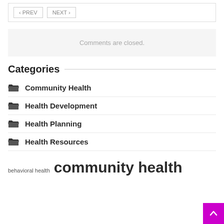< PREV   NEXT >
Comments are closed.
Categories
Community Health
Health Development
Health Planning
Health Resources
behavioral health   community health